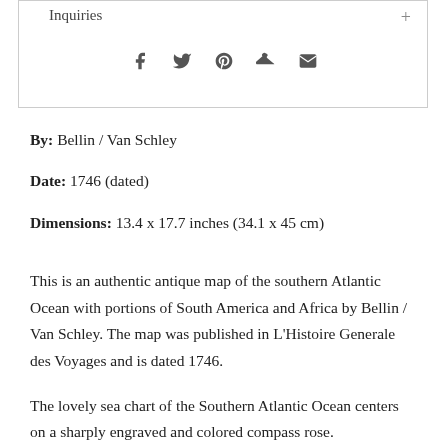Inquiries
[Figure (infographic): Social sharing icons: Facebook, Twitter, Pinterest, Fancy/Coat-hanger, Email/Envelope]
By: Bellin / Van Schley
Date: 1746 (dated)
Dimensions: 13.4 x 17.7 inches (34.1 x 45 cm)
This is an authentic antique map of the southern Atlantic Ocean with portions of South America and Africa by Bellin / Van Schley. The map was published in L'Histoire Generale des Voyages and is dated 1746.
The lovely sea chart of the Southern Atlantic Ocean centers on a sharply engraved and colored compass rose.